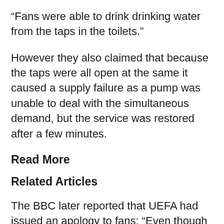“Fans were able to drink drinking water from the taps in the toilets.”
However they also claimed that because the taps were all open at the same it caused a supply failure as a pump was unable to deal with the simultaneous demand, but the service was restored after a few minutes.
Read More
Related Articles
The BBC later reported that UEFA had issued an apology to fans: “Even though the quantity of food and beverages planned by concessionaires was much bigger than what is usually served during a championship match at the Euros, fans…”